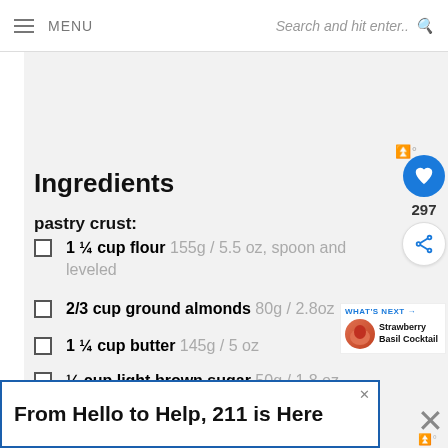≡ MENU   Search and hit enter.. 🔍
Ingredients
pastry crust:
1 ¼ cup flour 155g / 5.5 oz, spoon and leveled
2/3 cup ground almonds 80g / 2.8oz
1 ¼ cup butter 145g / 5 oz
¼ cup light brown sugar 50g / 1.8 oz, scoop and leveled
From Hello to Help, 211 is Here